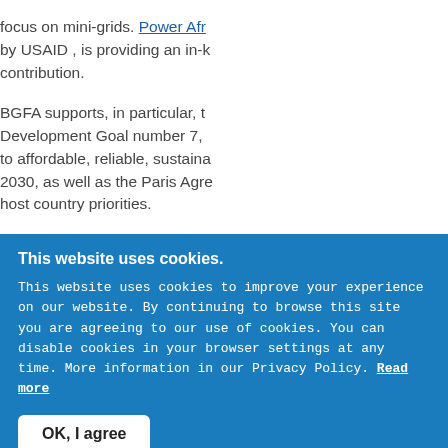focus on mini-grids. Power Afr by USAID , is providing an in-k contribution.
BGFA supports, in particular, t Development Goal number 7, to affordable, reliable, sustaina 2030, as well as the Paris Agre host country priorities.
This website uses cookies.
This website uses cookies to improve your experience on our website. By continuing to browse this site you are agreeing to our use of cookies. You can disable cookies in your browser settings at any time. More information in our Privacy Policy. Read more